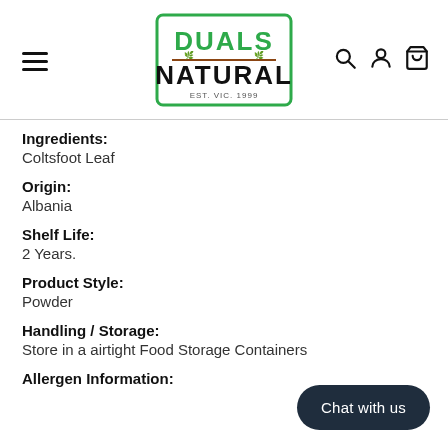Duals Natural — EST. VIC. 1999
Ingredients:
Coltsfoot Leaf
Origin:
Albania
Shelf Life:
2 Years.
Product Style:
Powder
Handling / Storage:
Store in a airtight Food Storage Containers
Allergen Information: